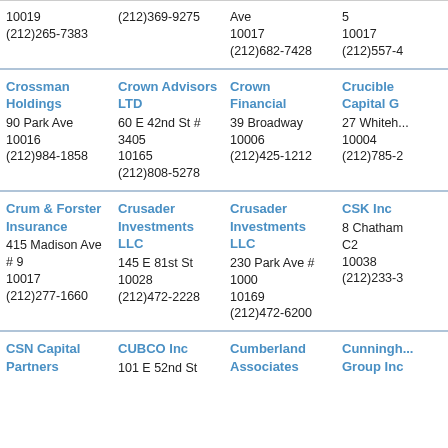| 10019
(212)265-7383 | (212)369-9275 | Ave
10017
(212)682-7428 | 5
10017
(212)557-... |
| Crossman Holdings
90 Park Ave
10016
(212)984-1858 | Crown Advisors LTD
60 E 42nd St # 3405
10165
(212)808-5278 | Crown Financial
39 Broadway
10006
(212)425-1212 | Crucible Capital G...
27 Whiteh...
10004
(212)785-... |
| Crum & Forster Insurance
415 Madison Ave # 9
10017
(212)277-1660 | Crusader Investments LLC
145 E 81st St
10028
(212)472-2228 | Crusader Investments LLC
230 Park Ave # 1000
10169
(212)472-6200 | CSK Inc
8 Chatham C2
10038
(212)233-... |
| CSN Capital Partners | CUBCO Inc
101 E 52nd St | Cumberland Associates | Cunningh... Group Inc |